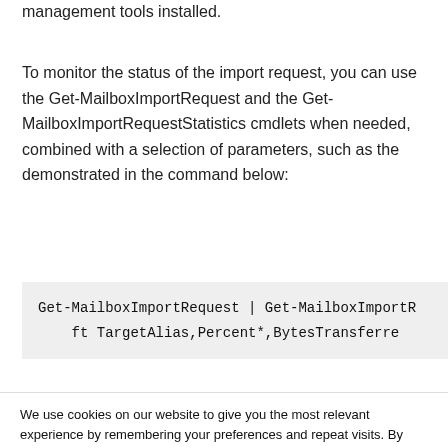management tools installed.
To monitor the status of the import request, you can use the Get-MailboxImportRequest and the Get-MailboxImportRequestStatistics cmdlets when needed, combined with a selection of parameters, such as the demonstrated in the command below:
Get-MailboxImportRequest | Get-MailboxImportR
    ft TargetAlias,Percent*,BytesTransferre
We use cookies on our website to give you the most relevant experience by remembering your preferences and repeat visits. By clicking “Accept”, you consent to the use of ALL the cookies.
Cookie settings
ACCEPT